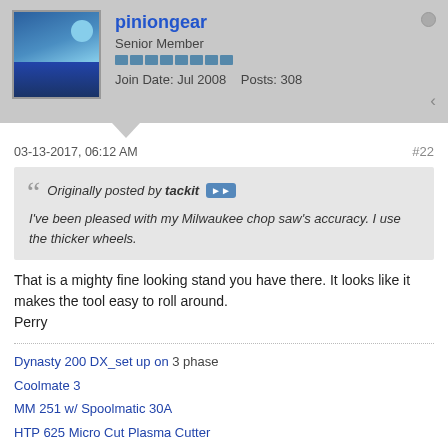piniongear | Senior Member | Join Date: Jul 2008 | Posts: 308
03-13-2017, 06:12 AM  #22
Originally posted by tackit
I've been pleased with my Milwaukee chop saw's accuracy. I use the thicker wheels.
That is a mighty fine looking stand you have there. It looks like it makes the tool easy to roll around.
Perry
Dynasty 200 DX_set up on 3 phase
Coolmate 3
MM 251 w/ Spoolmatic 30A
HTP 625 Micro Cut Plasma Cutter
Victor O/A Rig
Bridgeport Mill_3 phase (w/ Acu-Rite 4 axis DRO)
10 inch South Bend Lathe_3 phase
Baldor Double Cup Tool Grinder_3 phase
Baldor 10 inch Buffer